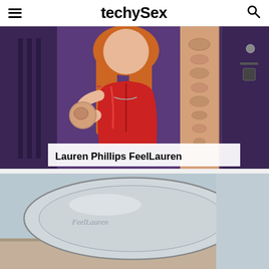techySex
[Figure (photo): Woman in red latex outfit holding a sex toy in a dungeon setting, next to a product cross-section image]
Lauren Phillips FeelLauren
[Figure (photo): Close-up of a sex toy product, camouflage pattern, partially visible]